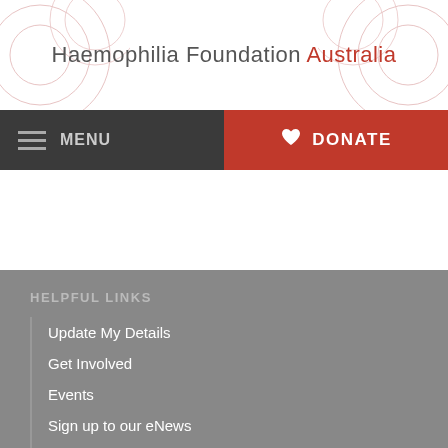Haemophilia Foundation Australia
MENU
DONATE
HELPFUL LINKS
Update My Details
Get Involved
Events
Sign up to our eNews
Reset Password